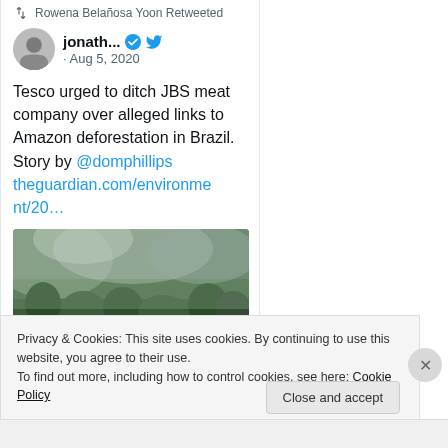Rowena Belañosa Yoon Retweeted
jonath... · Aug 5, 2020
Tesco urged to ditch JBS meat company over alleged links to Amazon deforestation in Brazil. Story by @domphillips theguardian.com/environment/20…
[Figure (photo): Forest fire / smoke scene — dark green trees shrouded in thick grey smoke]
Privacy & Cookies: This site uses cookies. By continuing to use this website, you agree to their use.
To find out more, including how to control cookies, see here: Cookie Policy